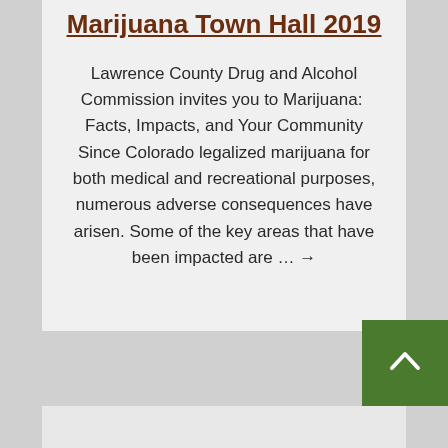Marijuana Town Hall 2019
Lawrence County Drug and Alcohol Commission invites you to Marijuana:  Facts, Impacts, and Your Community Since Colorado legalized marijuana for both medical and recreational purposes, numerous adverse consequences have arisen. Some of the key areas that have been impacted are … →